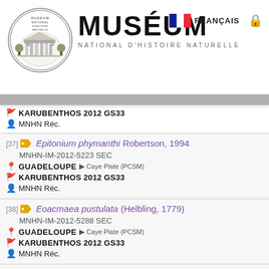[Figure (logo): Museum National d'Histoire Naturelle circular seal/logo]
MUSÉUM NATIONAL D'HISTOIRE NATURELLE — FRANÇAIS
[partial] KARUBENTHOS 2012 GS33 / MNHN Réc.
[37] Epitonium phymanthi Robertson, 1994 — MNHN-IM-2012-5223 SEC — GUADELOUPE > Caye Plate (PCSM) — KARUBENTHOS 2012 GS33 — MNHN Réc.
[38] Eoacmaea pustulata (Helbling, 1779) — MNHN-IM-2012-5288 SEC — GUADELOUPE > Caye Plate (PCSM) — KARUBENTHOS 2012 GS33 — MNHN Réc.
[39] Arca imbricata Bruguière, 1789 — MNHN-IM-2012-5331 SEC — GUADELOUPE > Caye Plate (PCSM)